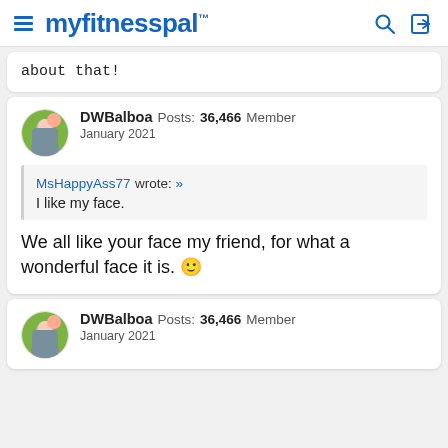myfitnesspal
about that!
DWBalboa Posts: 36,466 Member January 2021
MsHappyAss77 wrote: » I like my face.
We all like your face my friend, for what a wonderful face it is. 🙂
DWBalboa Posts: 36,466 Member January 2021